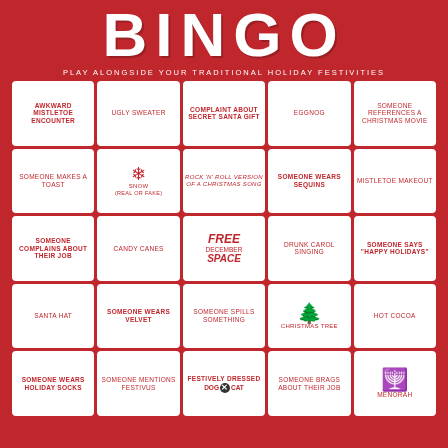BINGO
PLAY ALONGSIDE YOUR TRADITIONAL HOLIDAY FESTIVITIES
| Col1 | Col2 | Col3 | Col4 | Col5 |
| --- | --- | --- | --- | --- |
| AWKWARD MISTLETOE ENCOUNTER | UGLY SWEATER | COMPLAINT ABOUT SECRET SANTA GIFT | EGGNOG | SOMEONE REFERENCES A CHRISTMAS MOVIE |
| SOMEONE MAKES A TOAST | SNOW (REAL OR FAKE) | ROCK 'N' ROLL VERSION OF A CHRISTMAS SONG | SOMEONE WEARS SEQUINS | MISTLETOE MAKEOUT |
| SOMEONE COMPLAINS ABOUT THEIR JOB | CANDY CANES | FREE DECEMBER SPACE | DRUNK CAROL SINGING | SOMEONE SAYS "HAPPY HOLIDAYS" |
| SANTA HAT | SOMEONE WEARS VELVET | SOMEONE SPILLS SOMETHING | CHRISTMAS TREE | HOT COCOA |
| SOMEONE WEARS HOLIDAY SOCKS | SOMEONE MENTIONS FESTIVUS | FESTIVELY DRESSED DOG OR CAT | SOMEONE BRAGS ABOUT THEIR JOB | MENORAH |